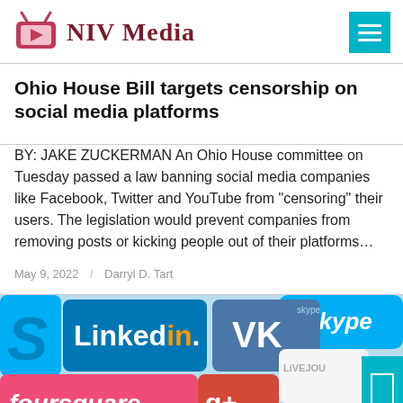NIV Media
Ohio House Bill targets censorship on social media platforms
BY: JAKE ZUCKERMAN An Ohio House committee on Tuesday passed a law banning social media companies like Facebook, Twitter and YouTube from “censoring” their users. The legislation would prevent companies from removing posts or kicking people out of their platforms…
May 9, 2022 / Darryl D. Tart
[Figure (photo): Collage of social media logos including LinkedIn, VK, Skype, Foursquare, Google+, LiveJournal, and others on colorful tiles]